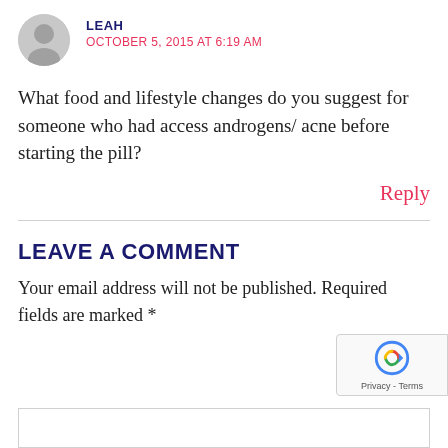LEAH — OCTOBER 5, 2015 AT 6:19 AM
What food and lifestyle changes do you suggest for someone who had access androgens/ acne before starting the pill?
Reply
LEAVE A COMMENT
Your email address will not be published. Required fields are marked *